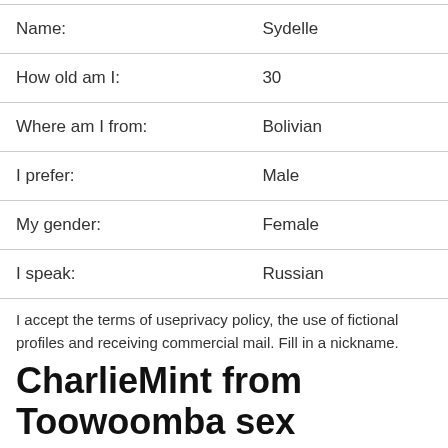| Field | Value |
| --- | --- |
| Name: | Sydelle |
| How old am I: | 30 |
| Where am I from: | Bolivian |
| I prefer: | Male |
| My gender: | Female |
| I speak: | Russian |
I accept the terms of useprivacy policy, the use of fictional profiles and receiving commercial mail. Fill in a nickname.
CharlieMint from Toowoomba sex personals.
What are? Chat at...